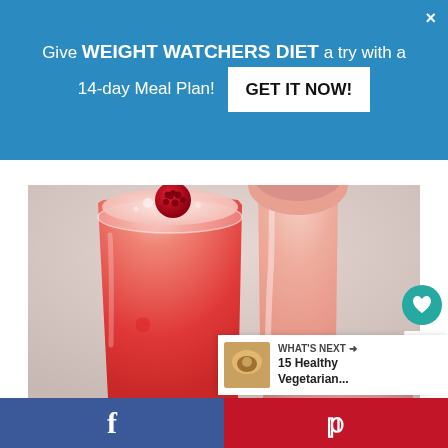Give WEIGHT WATCHERS DIET a try with a 14-day Meal Plan! GET IT NOW!
[Figure (photo): Two tall glasses filled with pink/red sparkling raspberry lemonade drinks, with a fresh raspberry floating on top of the foam in the foreground glass. The background glass shows a pale pink drink. A third rounded glass or fruit is partially visible at the bottom right. Light gray background.]
13
WHAT'S NEXT → 15 Healthy Vegetarian...
f
p